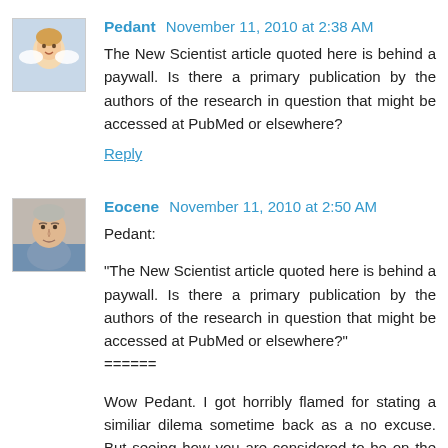Pedant November 11, 2010 at 2:38 AM
The New Scientist article quoted here is behind a paywall. Is there a primary publication by the authors of the research in question that might be accessed at PubMed or elsewhere?
Reply
Eocene November 11, 2010 at 2:50 AM
Pedant:
"The New Scientist article quoted here is behind a paywall. Is there a primary publication by the authors of the research in question that might be accessed at PubMed or elsewhere?"
======
Wow Pedant. I got horribly flamed for stating a similiar dilema sometime back as a no excuse. But seeing how you are considered to be on the correct side, I bet they'll give